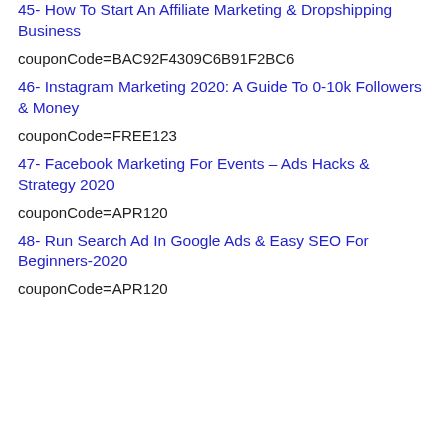45- How To Start An Affiliate Marketing & Dropshipping Business
couponCode=BAC92F4309C6B91F2BC6
46- Instagram Marketing 2020: A Guide To 0-10k Followers & Money
couponCode=FREE123
47- Facebook Marketing For Events – Ads Hacks & Strategy 2020
couponCode=APR120
48- Run Search Ad In Google Ads & Easy SEO For Beginners-2020
couponCode=APR120